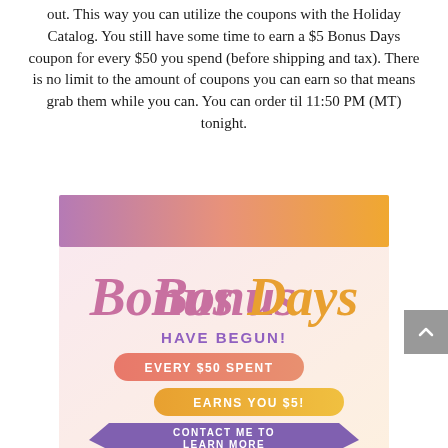out. This way you can utilize the coupons with the Holiday Catalog. You still have some time to earn a $5 Bonus Days coupon for every $50 you spend (before shipping and tax). There is no limit to the amount of coupons you can earn so that means grab them while you can. You can order til 11:50 PM (MT) tonight.
[Figure (infographic): Bonus Days promotional banner with gradient purple-to-orange header bar, 'Bonus Days HAVE BEGUN!' text, 'EVERY $50 SPENT' label in salmon/pink, 'EARNS YOU $5!' label in orange/yellow, and 'CONTACT ME TO LEARN MORE' banner in purple at the bottom.]